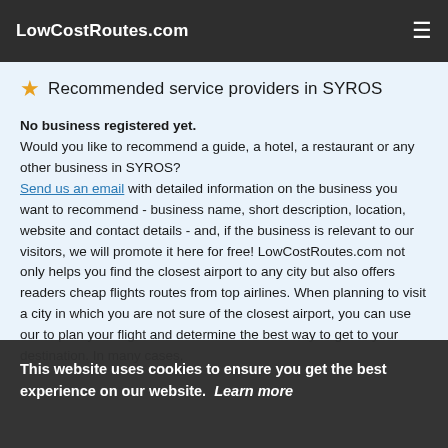LowCostRoutes.com
★ Recommended service providers in SYROS
No business registered yet. Would you like to recommend a guide, a hotel, a restaurant or any other business in SYROS? Send us an email with detailed information on the business you want to recommend - business name, short description, location, website and contact details - and, if the business is relevant to our visitors, we will promote it here for free! LowCostRoutes.com not only helps you find the closest airport to any city but also offers readers cheap flights routes from top airlines. When planning to visit a city in which you are not sure of the closest airport, you can use our to plan your flight and determine the best way to get to your destination. In many cases, ...into ...e best
This website uses cookies to ensure you get the best experience on our website.  Learn more